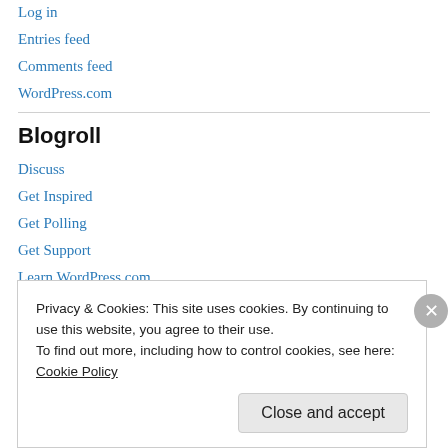Log in
Entries feed
Comments feed
WordPress.com
Blogroll
Discuss
Get Inspired
Get Polling
Get Support
Learn WordPress.com
Theme Showcase
Privacy & Cookies: This site uses cookies. By continuing to use this website, you agree to their use.
To find out more, including how to control cookies, see here: Cookie Policy
Close and accept